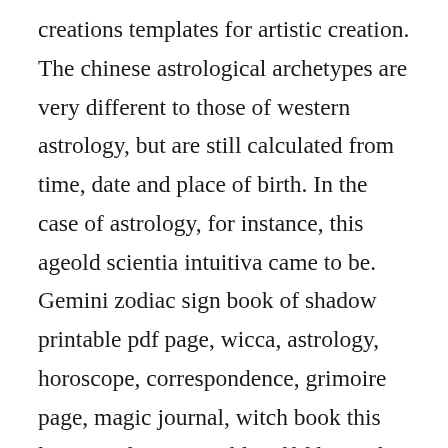creations templates for artistic creation. The chinese astrological archetypes are very different to those of western astrology, but are still calculated from time, date and place of birth. In the case of astrology, for instance, this ageold scientia intuitiva came to be. Gemini zodiac sign book of shadow printable pdf page, wicca, astrology, horoscope, correspondence, grimoire page, magic journal, witch book this listing is for 2 printable pdf files with gemini zodiac sign correspondences for your book of shadows or scrapbooking